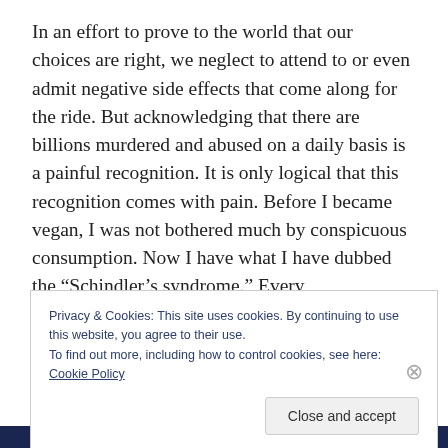In an effort to prove to the world that our choices are right, we neglect to attend to or even admit negative side effects that come along for the ride. But acknowledging that there are billions murdered and abused on a daily basis is a painful recognition. It is only logical that this recognition comes with pain. Before I became vegan, I was not bothered much by conspicuous consumption. Now I have what I have dubbed the “Schindler’s syndrome.” Every
Privacy & Cookies: This site uses cookies. By continuing to use this website, you agree to their use.
To find out more, including how to control cookies, see here: Cookie Policy
Close and accept